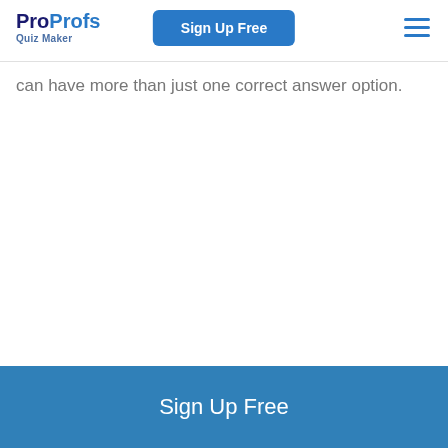ProProfs Quiz Maker | Sign Up Free
can have more than just one correct answer option.
Sign Up Free